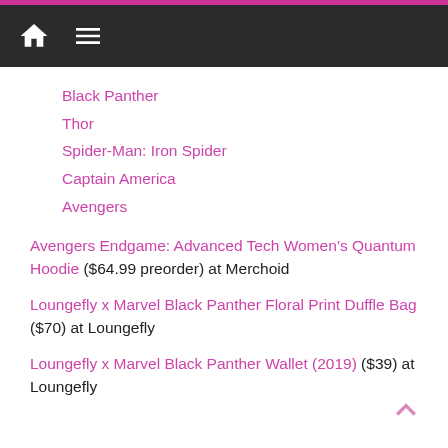Navigation bar with home and menu icons
Black Panther
Thor
Spider-Man: Iron Spider
Captain America
Avengers
Avengers Endgame: Advanced Tech Women’s Quantum Hoodie ($64.99 preorder) at Merchoid
Loungefly x Marvel Black Panther Floral Print Duffle Bag ($70) at Loungefly
Loungefly x Marvel Black Panther Wallet (2019) ($39) at Loungefly